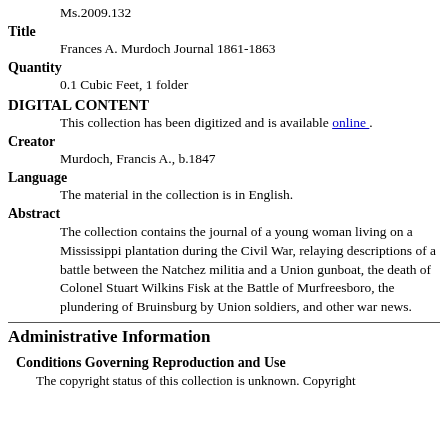Ms.2009.132
Title
Frances A. Murdoch Journal 1861-1863
Quantity
0.1 Cubic Feet, 1 folder
DIGITAL CONTENT
This collection has been digitized and is available online .
Creator
Murdoch, Francis A., b.1847
Language
The material in the collection is in English.
Abstract
The collection contains the journal of a young woman living on a Mississippi plantation during the Civil War, relaying descriptions of a battle between the Natchez militia and a Union gunboat, the death of Colonel Stuart Wilkins Fisk at the Battle of Murfreesboro, the plundering of Bruinsburg by Union soldiers, and other war news.
Administrative Information
Conditions Governing Reproduction and Use
The copyright status of this collection is unknown. Copyright